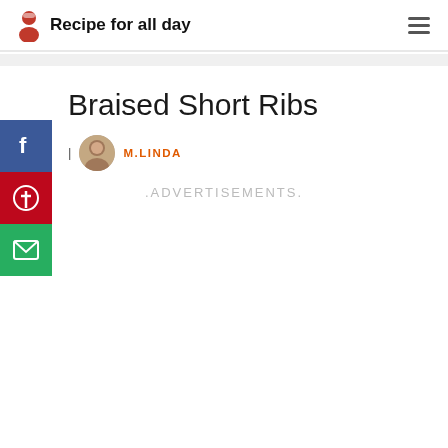Recipe for all day
Braised Short Ribs
M.LINDA
.ADVERTISEMENTS.